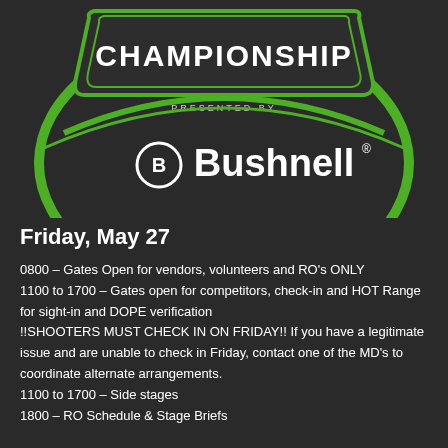[Figure (logo): Championship presented by Bushnell logo — dark badge shape with green border and green circular arc design, white text 'CHAMPIONSHIP' in large letters, 'PRESENTED BY' in small caps, Bushnell logo with B in circle and bold white Bushnell wordmark]
Friday, May 27
0800 – Gates Open for vendors, volunteers and RO's ONLY
1100 to 1700 – Gates open for competitors, check-in and HOT Range for sight-in and DOPE verification
!!SHOOTERS MUST CHECK IN ON FRIDAY!! If you have a legitimate issue and are unable to check in Friday, contact one of the MD's to coordinate alternate arrangements.
1100 to 1700 – Side stages
1800 – RO Schedule & Stage Briefs